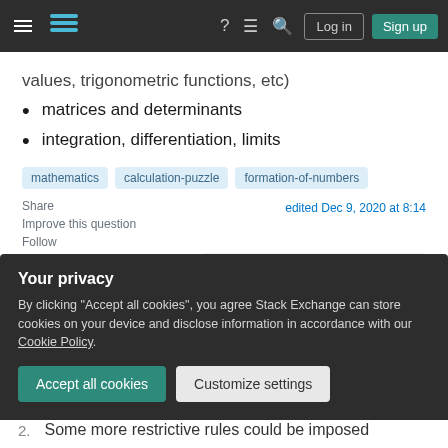Stack Exchange navigation bar with hamburger menu, logo, help, chat, search icons, Log in and Sign up buttons
values, trigonometric functions, etc)
matrices and determinants
integration, differentiation, limits
mathematics   calculation-puzzle   formation-of-numbers
Share
Improve this question
Follow
edited Dec 9, 2020 at 8:14
asked Mar 6, 2016 at 14:37
Your privacy
By clicking "Accept all cookies", you agree Stack Exchange can store cookies on your device and disclose information in accordance with our Cookie Policy.
Accept all cookies   Customize settings
2.  Some more restrictive rules could be imposed